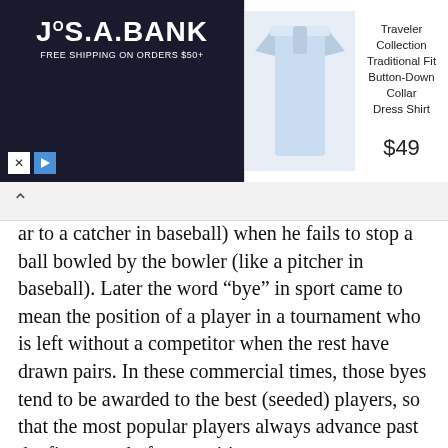[Figure (screenshot): Jos. A. Bank advertisement banner showing a light blue dress shirt with product title 'Traveler Collection Traditional Fit Button-Down Collar Dress Shirt' priced at $49. Left side has dark navy background with Jos. A. Bank logo and 'FREE SHIPPING ON ORDERS $50+'. Bottom left has close (x) and play (triangle) buttons.]
ar to a catcher in baseball) when he fails to stop a ball bowled by the bowler (like a pitcher in baseball). Later the word “bye” in sport came to mean the position of a player in a tournament who is left without a competitor when the rest have drawn pairs. In these commercial times, those byes tend to be awarded to the best (seeded) players, so that the most popular players always advance past the first round of competition.
39 Samoa’s capital : APIA
Apia is the capital city, and in fact the only city, of the Pacific island-nation of Samoa. The harbor of Apia is famous for a very foolish incident in 1889 involving seven naval vessels from Germany, the US and Britain. A typhoon was approaching so the safest thing to do was to